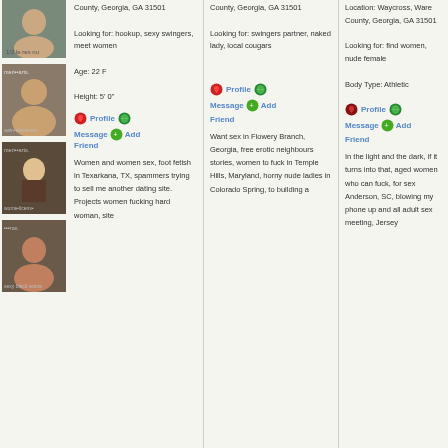[Figure (photo): Column of 4 female profile photos on left side]
County, Georgia, GA 31501

Looking for: hookup, sexy swingers, meet women

Age: 22 F

Height: 5' 0"
Profile Message Add Friend
Women and women sex, foot fetish in Texarkana, TX, spammers trying to sell me another dating site. Projects women fucking hard woman, site
County, Georgia, GA 31501

Looking for: swingers partner, naked lady, local cougars
Profile Message Add Friend
Want sex in Flowery Branch, Georgia, free erotic neighbours stories, women to fuck in Temple Hills, Maryland, horny nude ladies in Colorado Spring, to building a
Location: Waycross, Ware County, Georgia, GA 31501

Looking for: find women, nude female

Body Type: Athletic
Profile Message Add Friend
In the light and the dark, if it turns into that, aged women who can fuck, for sex Anderson, SC, blowing my phone up and all adult sex meeting, Jersey